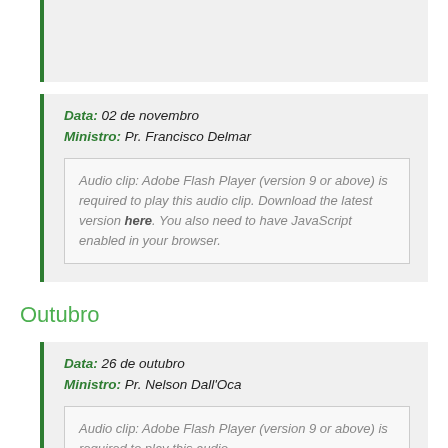Data: 02 de novembro
Ministro: Pr. Francisco Delmar
Audio clip: Adobe Flash Player (version 9 or above) is required to play this audio clip. Download the latest version here. You also need to have JavaScript enabled in your browser.
Outubro
Data: 26 de outubro
Ministro: Pr. Nelson Dall'Oca
Audio clip: Adobe Flash Player (version 9 or above) is required to play this audio